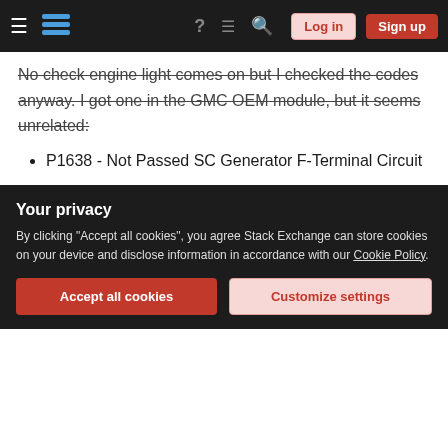Stack Exchange navigation bar with hamburger menu, logo, help, chat, search icons, Log in and Sign up buttons
No check engine light comes on but I checked the codes anyway. I got one in the GMC OEM module, but it seems unrelated:
P1638 - Not Passed SC Generator F-Terminal Circuit
Any thoughts would be appreciated!
starting  fuel-system  gmc  throttle  sierra
Share  edited Aug 10, 2018 at 21:19
Your privacy
By clicking "Accept all cookies", you agree Stack Exchange can store cookies on your device and disclose information in accordance with our Cookie Policy.
Accept all cookies  Customize settings